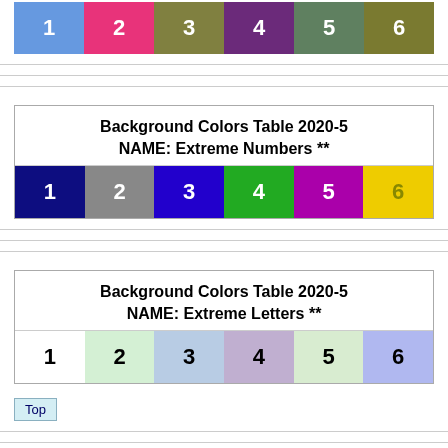| 1 | 2 | 3 | 4 | 5 | 6 |
| --- | --- | --- | --- | --- | --- |
| 1 | 2 | 3 | 4 | 5 | 6 |
| Background Colors Table 2020-5
NAME: Extreme Numbers ** |
| --- |
| 1 | 2 | 3 | 4 | 5 | 6 |
| Background Colors Table 2020-5
NAME: Extreme Letters ** |
| --- |
| 1 | 2 | 3 | 4 | 5 | 6 |
Top